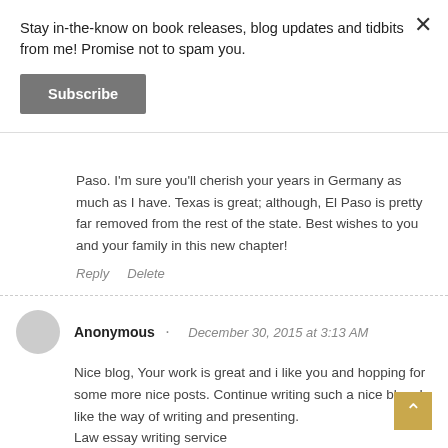Stay in-the-know on book releases, blog updates and tidbits from me! Promise not to spam you.
Subscribe
Paso. I'm sure you'll cherish your years in Germany as much as I have. Texas is great; although, El Paso is pretty far removed from the rest of the state. Best wishes to you and your family in this new chapter!
Reply   Delete
Anonymous · December 30, 2015 at 3:13 AM
Nice blog, Your work is great and i like you and hopping for some more nice posts. Continue writing such a nice blog. I like the way of writing and presenting.
Law essay writing service
Reply   Delete